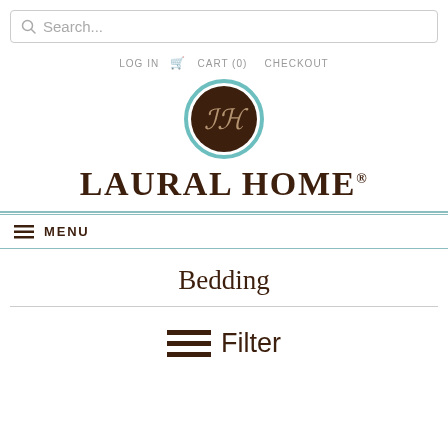[Figure (screenshot): Search bar with magnifying glass icon and placeholder text 'Search...']
LOG IN  CART (0)  CHECKOUT
[Figure (logo): Laural Home logo: circular teal-bordered dark brown emblem with stylized LH monogram, and 'LAURAL HOME®' text below in serif font]
≡ MENU
Bedding
≡ Filter